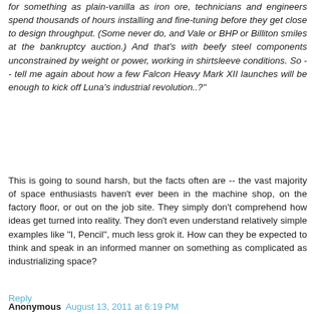for something as plain-vanilla as iron ore, technicians and engineers spend thousands of hours installing and fine-tuning before they get close to design throughput. (Some never do, and Vale or BHP or Billiton smiles at the bankruptcy auction.) And that's with beefy steel components unconstrained by weight or power, working in shirtsleeve conditions. So -- tell me again about how a few Falcon Heavy Mark XII launches will be enough to kick off Luna's industrial revolution..?"
This is going to sound harsh, but the facts often are -- the vast majority of space enthusiasts haven't ever been in the machine shop, on the factory floor, or out on the job site. They simply don't comprehend how ideas get turned into reality. They don't even understand relatively simple examples like "I, Pencil", much less grok it. How can they be expected to think and speak in an informed manner on something as complicated as industrializing space?
Reply
Anonymous  August 13, 2011 at 6:19 PM